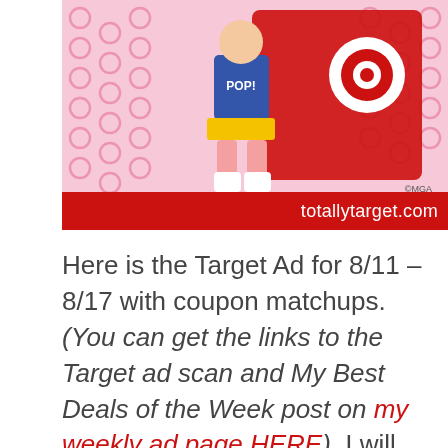[Figure (illustration): Target store advertisement image with pink polka-dot background featuring a cartoon pop-art style girl character wearing a POP! shirt, with a red Target gift card visible. Red banner at bottom reads 'totallytarget.com'. Copyright MGA mark visible.]
Here is the Target Ad for 8/11 – 8/17 with coupon matchups. (You can get the links to the Target ad scan and My Best Deals of the Week post on my weekly ad page HERE). I will add any more matchups to this post as I find them and if you can